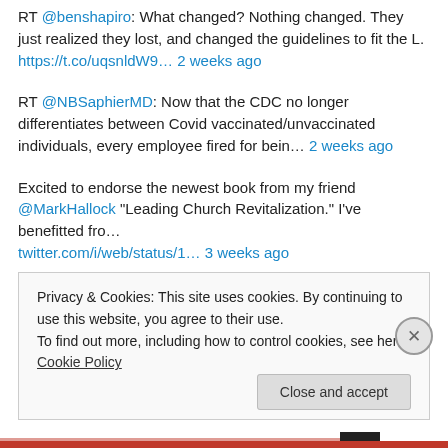RT @benshapiro: What changed? Nothing changed. They just realized they lost, and changed the guidelines to fit the L. https://t.co/uqsnldW9… 2 weeks ago
RT @NBSaphierMD: Now that the CDC no longer differentiates between Covid vaccinated/unvaccinated individuals, every employee fired for bein… 2 weeks ago
Excited to endorse the newest book from my friend @MarkHallock "Leading Church Revitalization." I've benefitted fro… twitter.com/i/web/status/1… 3 weeks ago
Lap dog??? https://t.co/9TpPFpenhW 4 weeks ago
Privacy & Cookies: This site uses cookies. By continuing to use this website, you agree to their use. To find out more, including how to control cookies, see here: Cookie Policy Close and accept